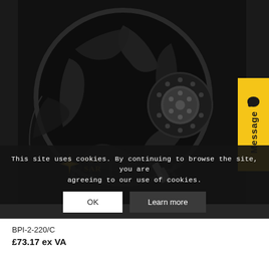[Figure (photo): A large black centrifugal/backward-curved fan or blower wheel, viewed from the front-side angle, showing the curved impeller blades and motor hub, on a dark background. A company logo (star-like gold/yellow emblem with text) is overlaid at the bottom of the image.]
This site uses cookies. By continuing to browse the site, you are agreeing to our use of cookies.
OK
Learn more
BPI-2-220/C
£73.17 ex VA